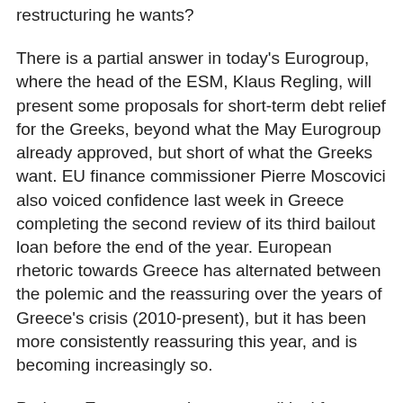restructuring he wants?
There is a partial answer in today's Eurogroup, where the head of the ESM, Klaus Regling, will present some proposals for short-term debt relief for the Greeks, beyond what the May Eurogroup already approved, but short of what the Greeks want. EU finance commissioner Pierre Moscovici also voiced confidence last week in Greece completing the second review of its third bailout loan before the end of the year. European rhetoric towards Greece has alternated between the polemic and the reassuring over the years of Greece's crisis (2010-present), but it has been more consistently reassuring this year, and is becoming increasingly so.
Perhaps European mainstream political forces, which are pro-Europe, are beginning to understand the damage austerity has done to the European cause. But the Greeks shouldn't overestimate the cash value